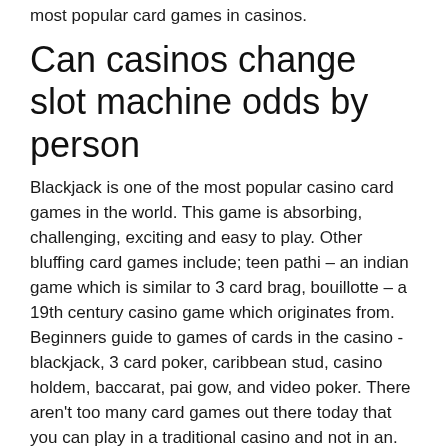most popular card games in casinos.
Can casinos change slot machine odds by person
Blackjack is one of the most popular casino card games in the world. This game is absorbing, challenging, exciting and easy to play. Other bluffing card games include; teen pathi – an indian game which is similar to 3 card brag, bouillotte – a 19th century casino game which originates from. Beginners guide to games of cards in the casino - blackjack, 3 card poker, caribbean stud, casino holdem, baccarat, pai gow, and video poker. There aren't too many card games out there today that you can play in a traditional casino and not in an. Blackjack is the kind of entertainment you can see in any gambling house or best mobile casino around the world. This is a purely luck-based. Manufacture of card decks, playing cards and casino-themed merchandise to...